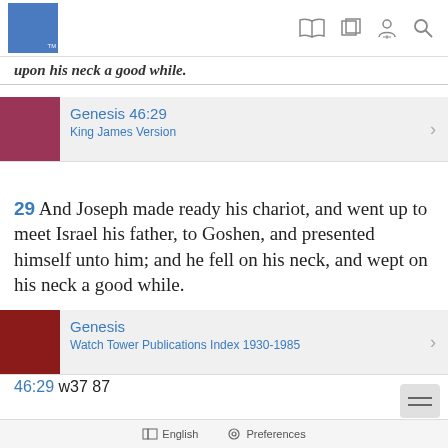Navigation bar with logo and icons
upon his neck a good while.
Genesis 46:29 — King James Version
29 And Joseph made ready his chariot, and went up to meet Israel his father, to Goshen, and presented himself unto him; and he fell on his neck, and wept on his neck a good while.
Genesis — Watch Tower Publications Index 1930-1985
46:29 w37 87
English   Preferences